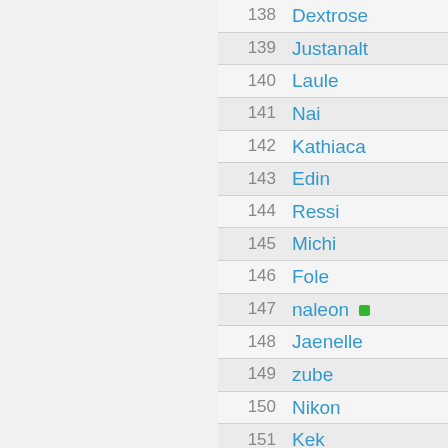| # | Name |
| --- | --- |
| 138 | Dextrose |
| 139 | Justanalt |
| 140 | Laule |
| 141 | Nai |
| 142 | Kathiaca |
| 143 | Edin |
| 144 | Ressi |
| 145 | Michi |
| 146 | Fole |
| 147 | naleon ● |
| 148 | Jaenelle |
| 149 | zube |
| 150 | Nikon |
| 151 | Kek |
| 152 | Loftarasa |
| 153 | Olium |
| 154 | Mysteek |
| 155 | Warpdongle |
| 156 | Galderas |